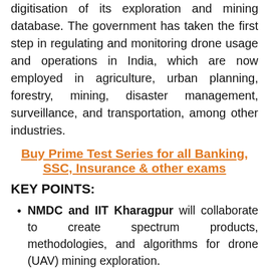digitisation of its exploration and mining database. The government has taken the first step in regulating and monitoring drone usage and operations in India, which are now employed in agriculture, urban planning, forestry, mining, disaster management, surveillance, and transportation, among other industries.
Buy Prime Test Series for all Banking, SSC, Insurance & other exams
KEY POINTS:
NMDC and IIT Kharagpur will collaborate to create spectrum products, methodologies, and algorithms for drone (UAV) mining exploration.
The collaboration will also lead to the development of software spectral tools for mineral excavation and mining technology capacity-building programmes.